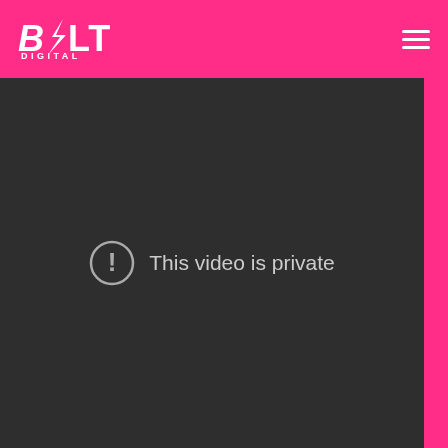BOLT DIGITAL
[Figure (screenshot): Dark video player area showing 'This video is private' message with an exclamation mark icon in a circle]